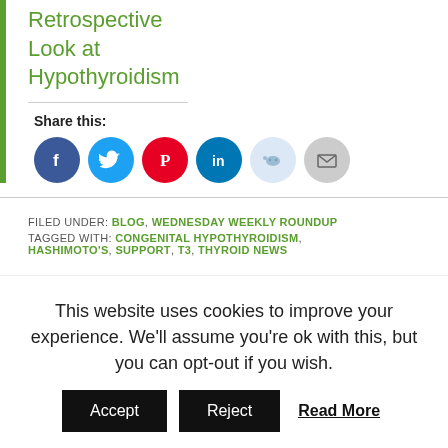Retrospective Look at Hypothyroidism
Share this:
[Figure (infographic): Social sharing icons: Facebook, Twitter, Pinterest, LinkedIn, Reddit, Email]
FILED UNDER: BLOG, WEDNESDAY WEEKLY ROUNDUP
TAGGED WITH: CONGENITAL HYPOTHYROIDISM, HASHIMOTO'S, SUPPORT, T3, THYROID NEWS
This website uses cookies to improve your experience. We'll assume you're ok with this, but you can opt-out if you wish. Accept Reject Read More